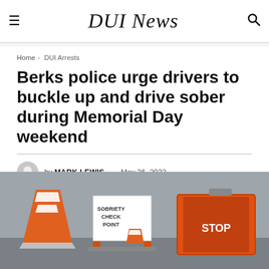DUI News
Home › DUI Arrests
Berks police urge drivers to buckle up and drive sober during Memorial Day weekend
by MARK LEWIS — May 26, 2022
[Figure (photo): Photo of traffic cones, a sobriety checkpoint A-frame sign, and a STOP octagon sign on pavement]